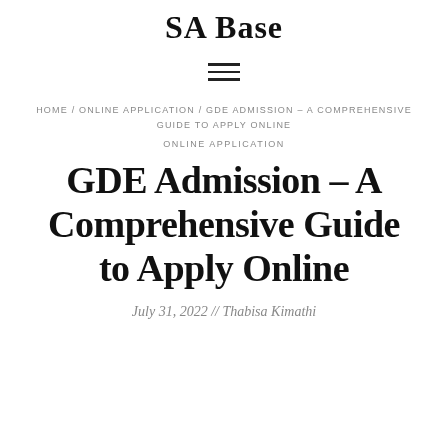SA Base
[Figure (other): Hamburger menu icon (three horizontal lines)]
HOME / ONLINE APPLICATION / GDE ADMISSION – A COMPREHENSIVE GUIDE TO APPLY ONLINE
ONLINE APPLICATION
GDE Admission – A Comprehensive Guide to Apply Online
July 31, 2022 // Thabisa Kimathi